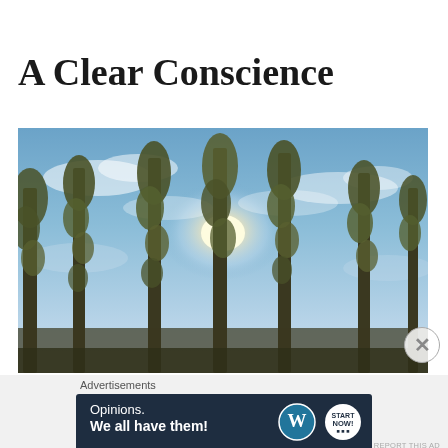A Clear Conscience
[Figure (photo): Photograph of tall trees with sparse foliage seen from below against a bright blue sky with wispy clouds; sunlight shining through behind the trees]
Advertisements
[Figure (infographic): Dark navy advertisement banner reading 'Opinions. We all have them!' with WordPress logo and another circular logo on the right]